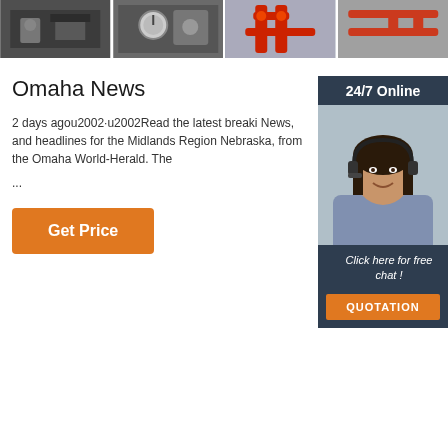[Figure (photo): Strip of four industrial/engineering photos showing pipes, gauges, and red piping systems]
Omaha News
2 days agou2002·u2002Read the latest breaki News, and headlines for the Midlands Region Nebraska, from the Omaha World-Herald. The
...
[Figure (photo): Customer service agent woman with headset smiling, with 24/7 Online header and Click here for free chat! and QUOTATION button on dark blue background]